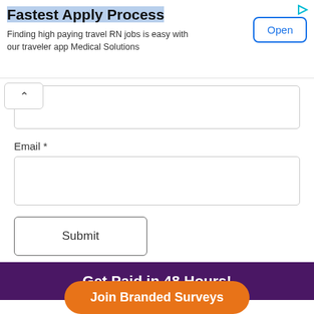[Figure (screenshot): Advertisement banner: 'Fastest Apply Process' with 'Open' button, for Medical Solutions travel RN jobs app]
Email *
Submit
Get Paid in 48 Hours!
Get $1 instantly just for joining for free. Plus get paid within 48 hours!
Join Branded Surveys